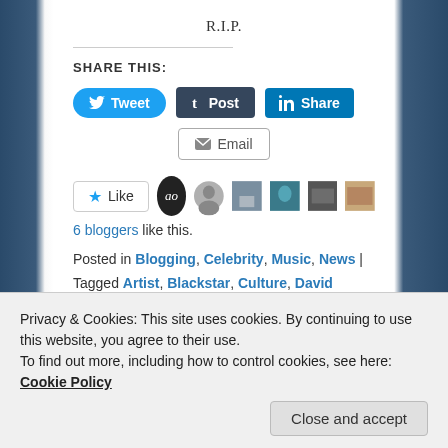R.I.P.
SHARE THIS:
Tweet | Post | Share | Email buttons
Like | 6 bloggers like this.
Posted in Blogging, Celebrity, Music, News | Tagged Artist, Blackstar, Culture, David Bowie, Glam rock, Icon, Legend, Major Tom, Music, New romantics, Ziggy Stardust | Leave a reply
Privacy & Cookies: This site uses cookies. By continuing to use this website, you agree to their use.
To find out more, including how to control cookies, see here: Cookie Policy